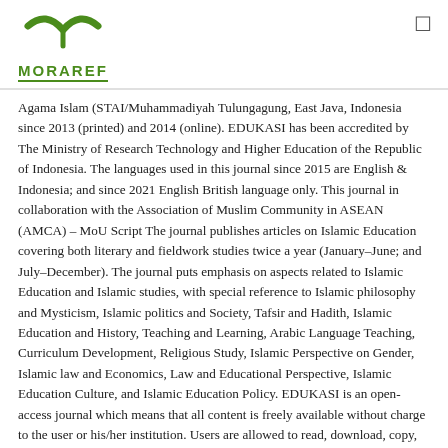MORAREF
Agama Islam (STAI/Muhammadiyah Tulungagung, East Java, Indonesia since 2013 (printed) and 2014 (online). EDUKASI has been accredited by The Ministry of Research Technology and Higher Education of the Republic of Indonesia. The languages used in this journal since 2015 are English & Indonesia; and since 2021 English British language only. This journal in collaboration with the Association of Muslim Community in ASEAN (AMCA) – MoU Script The journal publishes articles on Islamic Education covering both literary and fieldwork studies twice a year (January–June; and July–December). The journal puts emphasis on aspects related to Islamic Education and Islamic studies, with special reference to Islamic philosophy and Mysticism, Islamic politics and Society, Tafsir and Hadith, Islamic Education and History, Teaching and Learning, Arabic Language Teaching, Curriculum Development, Religious Study, Islamic Perspective on Gender, Islamic law and Economics, Law and Educational Perspective, Islamic Education Culture, and Islamic Education Policy. EDUKASI is an open-access journal which means that all content is freely available without charge to the user or his/her institution. Users are allowed to read, download, copy, distribute, print, search, or link to the full texts of the articles, or use them for any other lawful purpose, without asking prior permission from the publisher or the author. This is in accordance with the BOAI definition of open